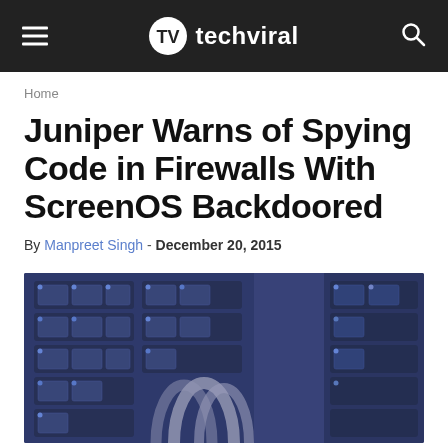techviral
Home
Juniper Warns of Spying Code in Firewalls With ScreenOS Backdoored
By Manpreet Singh - December 20, 2015
[Figure (photo): Close-up photo of server rack with network cables, tinted blue/purple]